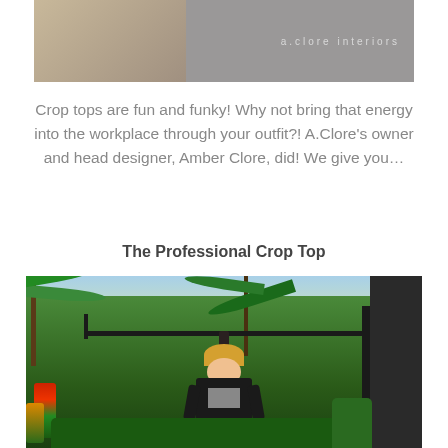[Figure (photo): Top portion of a blog post image showing a woman walking in an exterior setting with a.clore interiors branding on the right side in gray]
Crop tops are fun and funky! Why not bring that energy into the workplace through your outfit?! A.Clore's owner and head designer, Amber Clore, did! We give you…
The Professional Crop Top
[Figure (photo): Outdoor photo of a blonde woman wearing a crop top and blazer standing in front of a building entrance surrounded by lush tropical plants including palm trees and colorful foliage]